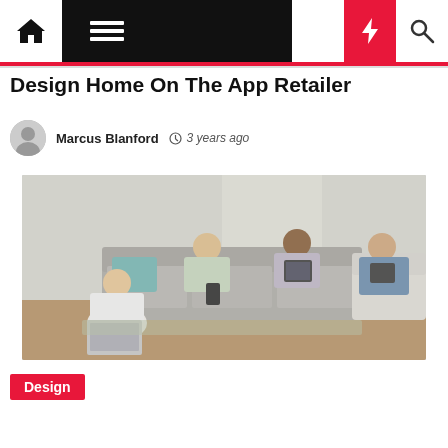Navigation bar with home, menu, moon, lightning, search icons
Design Home On The App Retailer
Marcus Blanford  ⊙ 3 years ago
[Figure (photo): Four people sitting in a living room, each using a different device: laptop, smartphone, tablet. They are seated on a grey sofa and a white armchair around a coffee table.]
Design